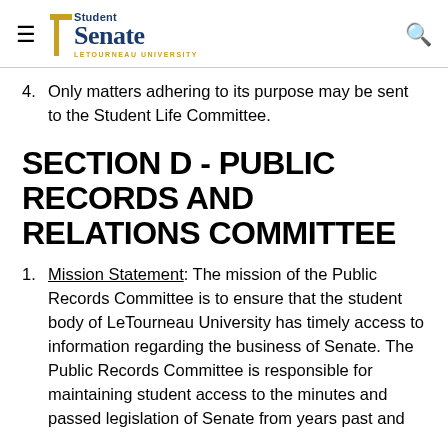Student Senate LeTourneau University
4. Only matters adhering to its purpose may be sent to the Student Life Committee.
SECTION D - PUBLIC RECORDS AND RELATIONS COMMITTEE
1. Mission Statement: The mission of the Public Records Committee is to ensure that the student body of LeTourneau University has timely access to information regarding the business of Senate. The Public Records Committee is responsible for maintaining student access to the minutes and passed legislation of Senate from years past and